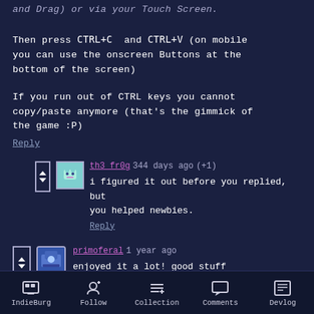and Drag) or via your Touch Screen. Then press CTRL+C  and CTRL+V (on mobile you can use the onscreen Buttons at the bottom of the screen)
If you run out of CTRL keys you cannot copy/paste anymore (that's the gimmick of the game :P)
Reply
th3_fr0g  344 days ago  (+1)
i figured it out before you replied, but you helped newbies.
Reply
primoferal  1 year ago
enjoyed it a lot! good stuff
IndieBurg  Follow  Collection  Comments  Devlog